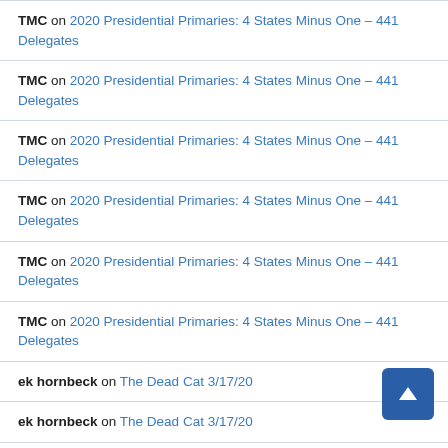TMC on 2020 Presidential Primaries: 4 States Minus One – 441 Delegates
TMC on 2020 Presidential Primaries: 4 States Minus One – 441 Delegates
TMC on 2020 Presidential Primaries: 4 States Minus One – 441 Delegates
TMC on 2020 Presidential Primaries: 4 States Minus One – 441 Delegates
TMC on 2020 Presidential Primaries: 4 States Minus One – 441 Delegates
TMC on 2020 Presidential Primaries: 4 States Minus One – 441 Delegates
ek hornbeck on The Dead Cat 3/17/20
ek hornbeck on The Dead Cat 3/17/20